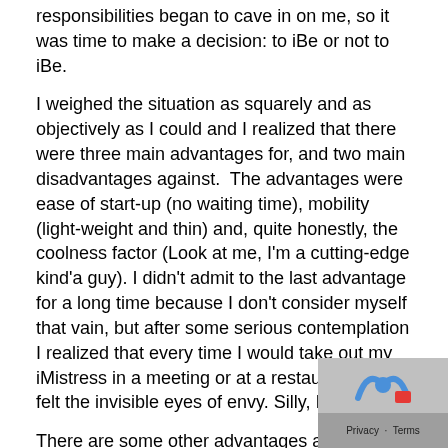responsibilities began to cave in on me, so it was time to make a decision: to iBe or not to iBe.
I weighed the situation as squarely and as objectively as I could and I realized that there were three main advantages for, and two main disadvantages against.  The advantages were ease of start-up (no waiting time), mobility (light-weight and thin) and, quite honestly, the coolness factor (Look at me, I'm a cutting-edge kind'a guy). I didn't admit to the last advantage for a long time because I don't consider myself that vain, but after some serious contemplation I realized that every time I would take out my iMistress in a meeting or at a restaurant bar I felt the invisible eyes of envy. Silly, I know.
There are some other advantages as well, such as the active screen and 3G or 4G connection (depending on when you strayed), but I realized that it was the first three that caused me to betray my PC.
The disadvantages however were more serious: It was tak much longer to get work done and everything that I needed a PC